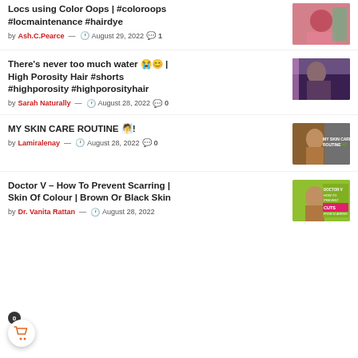Locs using Color Oops | #coloroops #locmaintenance #hairdye — by Ash.C.Pearce — August 29, 2022 — 1 comment
There's never too much water 😭😊 | High Porosity Hair #shorts #highporosity #highporosityhair — by Sarah Naturally — August 28, 2022 — 0 comments
MY SKIN CARE ROUTINE 🧖! — by Lamiralenay — August 28, 2022 — 0 comments
Doctor V – How To Prevent Scarring | Skin Of Colour | Brown Or Black Skin — by Dr. Vanita Rattan — August 28, 2022